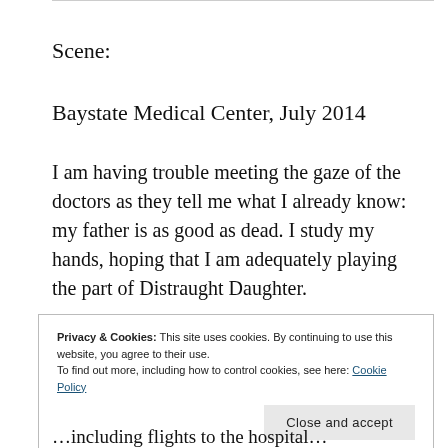Scene:
Baystate Medical Center, July 2014
I am having trouble meeting the gaze of the doctors as they tell me what I already know: my father is as good as dead. I study my hands, hoping that I am adequately playing the part of Distraught Daughter.
Privacy & Cookies: This site uses cookies. By continuing to use this website, you agree to their use.
To find out more, including how to control cookies, see here: Cookie Policy
Close and accept
…including flights to the hospital…